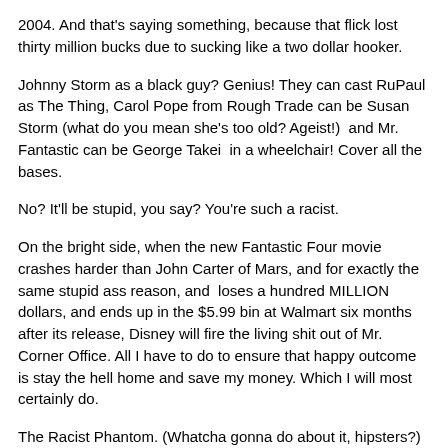2004. And that's saying something, because that flick lost thirty million bucks due to sucking like a two dollar hooker.
Johnny Storm as a black guy? Genius! They can cast RuPaul as The Thing, Carol Pope from Rough Trade can be Susan Storm (what do you mean she's too old? Ageist!)  and Mr. Fantastic can be George Takei  in a wheelchair! Cover all the bases.
No? It'll be stupid, you say? You're such a racist.
On the bright side, when the new Fantastic Four movie crashes harder than John Carter of Mars, and for exactly the same stupid ass reason, and  loses a hundred MILLION dollars, and ends up in the $5.99 bin at Walmart six months after its release, Disney will fire the living shit out of Mr. Corner Office. All I have to do to ensure that happy outcome is stay the hell home and save my money. Which I will most certainly do.
The Racist Phantom. (Whatcha gonna do about it, hipsters?)